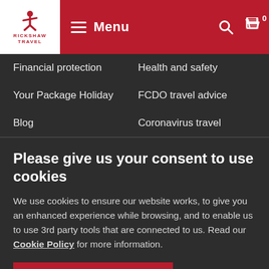[Figure (logo): Rickshaw Travel logo: red figure icon above text RICKSHAW TRAVEL in red on white background]
Menu
Financial protection
Health and safety
Your Package Holiday
FCDO travel advice
Blog
Coronavirus travel
Please give us your consent to use cookies
We use cookies to ensure our website works, to give you an enhanced experience while browsing, and to enable us to use 3rd party tools that are connected to us. Read our Cookie Policy for more information.
Yes, I agree